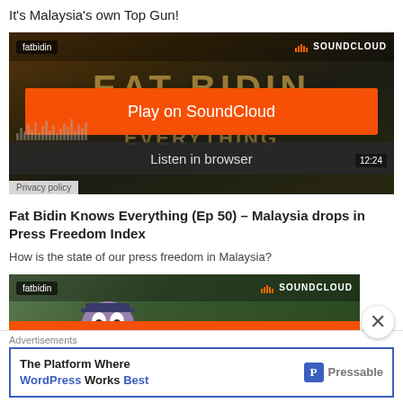It's Malaysia's own Top Gun!
[Figure (screenshot): SoundCloud embedded player showing 'fatbidin' user tag, orange Play on SoundCloud button, Listen in browser bar, 12:24 duration, Privacy policy link, waveform visualization, and background showing EAT BIDIN text]
Fat Bidin Knows Everything (Ep 50) – Malaysia drops in Press Freedom Index
How is the state of our press freedom in Malaysia?
[Figure (screenshot): Second SoundCloud embedded player showing 'fatbidin' user tag, SOUNDCLOUD logo, cartoon character image, orange Play on SoundCloud button partially visible, with close X button overlay]
Advertisements
[Figure (screenshot): Pressable advertisement: 'The Platform Where WordPress Works Best' with blue Pressable logo on right]